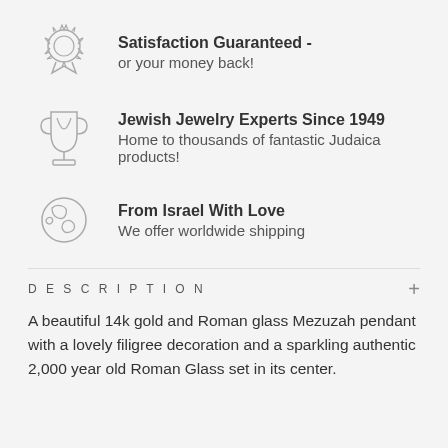Satisfaction Guaranteed - or your money back!
Jewish Jewelry Experts Since 1949 - Home to thousands of fantastic Judaica products!
From Israel With Love - We offer worldwide shipping
DESCRIPTION
A beautiful 14k gold and Roman glass Mezuzah pendant with a lovely filigree decoration and a sparkling authentic 2,000 year old Roman Glass set in its center.